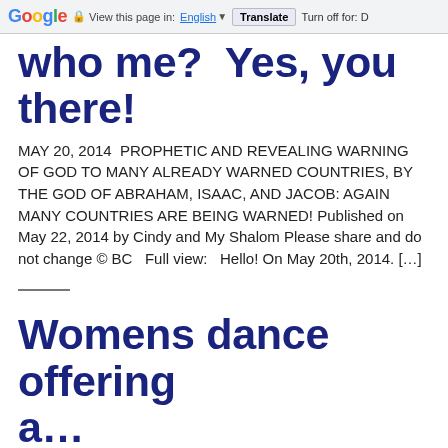Google  View this page in: English  Translate  Turn off for: D
who me? Yes, you there!
MAY 20, 2014  PROPHETIC AND REVEALING WARNING OF GOD TO MANY ALREADY WARNED COUNTRIES, BY THE GOD OF ABRAHAM, ISAAC, AND JACOB: AGAIN MANY COUNTRIES ARE BEING WARNED! Published on May 22, 2014 by Cindy and My Shalom Please share and do not change © BC   Full view:   Hello! On May 20th, 2014. […]
Womens dance offering a…